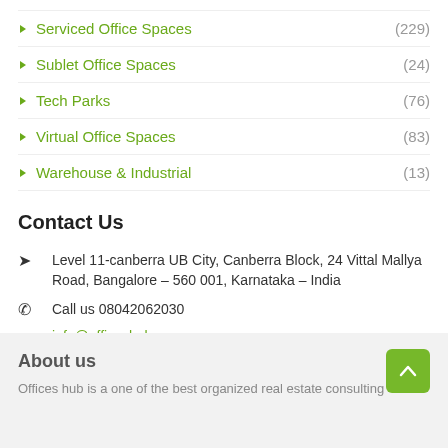Serviced Office Spaces (229)
Sublet Office Spaces (24)
Tech Parks (76)
Virtual Office Spaces (83)
Warehouse & Industrial (13)
Contact Us
Level 11-canberra UB City, Canberra Block, 24 Vittal Mallya Road, Bangalore – 560 001, Karnataka – India
Call us 08042062030
info@officeshub.com
Contact us ▶
About us
Offices hub is a one of the best organized real estate consulting